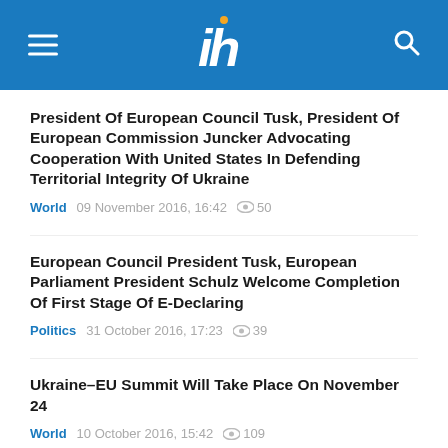UkrInform news logo header
President Of European Council Tusk, President Of European Commission Juncker Advocating Cooperation With United States In Defending Territorial Integrity Of Ukraine
World   09 November 2016, 16:42   50
European Council President Tusk, European Parliament President Schulz Welcome Completion Of First Stage Of E-Declaring
Politics   31 October 2016, 17:23   39
Ukraine–EU Summit Will Take Place On November 24
World   10 October 2016, 15:42   109